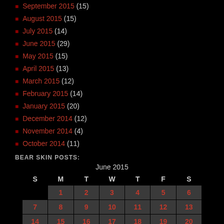September 2015 (15)
August 2015 (15)
July 2015 (14)
June 2015 (29)
May 2015 (15)
April 2015 (13)
March 2015 (12)
February 2015 (14)
January 2015 (20)
December 2014 (12)
November 2014 (4)
October 2014 (11)
BEAR SKIN POSTS:
| S | M | T | W | T | F | S |
| --- | --- | --- | --- | --- | --- | --- |
|  | 1 | 2 | 3 | 4 | 5 | 6 |
| 7 | 8 | 9 | 10 | 11 | 12 | 13 |
| 14 | 15 | 16 | 17 | 18 | 19 | 20 |
| 21 | 22 | 23 | 24 | 25 | 26 | 27 |